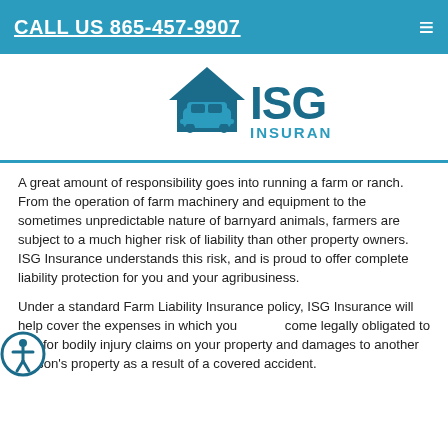CALL US 865-457-9907
[Figure (logo): ISG Insurance LLC logo with house and car icon in teal/blue colors]
A great amount of responsibility goes into running a farm or ranch. From the operation of farm machinery and equipment to the sometimes unpredictable nature of barnyard animals, farmers are subject to a much higher risk of liability than other property owners. ISG Insurance understands this risk, and is proud to offer complete liability protection for you and your agribusiness.
Under a standard Farm Liability Insurance policy, ISG Insurance will help cover the expenses in which you come legally obligated to pay for bodily injury claims on your property and damages to another person's property as a result of a covered accident.